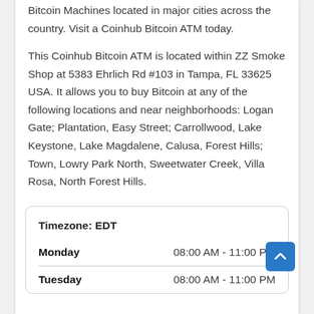Bitcoin Machines located in major cities across the country. Visit a Coinhub Bitcoin ATM today.
This Coinhub Bitcoin ATM is located within ZZ Smoke Shop at 5383 Ehrlich Rd #103 in Tampa, FL 33625 USA. It allows you to buy Bitcoin at any of the following locations and near neighborhoods: Logan Gate; Plantation, Easy Street; Carrollwood, Lake Keystone, Lake Magdalene, Calusa, Forest Hills; Town, Lowry Park North, Sweetwater Creek, Villa Rosa, North Forest Hills.
| Timezone: EDT |  |
| --- | --- |
| Monday | 08:00 AM - 11:00 PM |
| Tuesday | 08:00 AM - 11:00 PM |